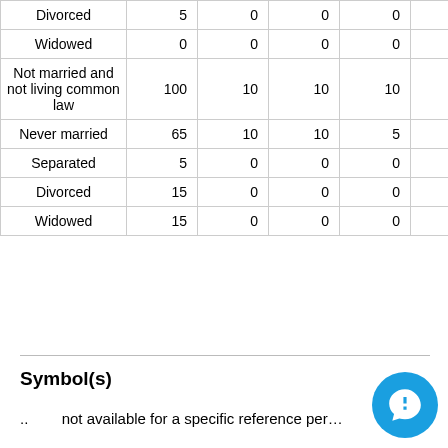| Divorced | 5 | 0 | 0 | 0 | 0 | 0 |
| Widowed | 0 | 0 | 0 | 0 | 0 | 0 |
| Not married and not living common law | 100 | 10 | 10 | 10 | 0 | 5 |
| Never married | 65 | 10 | 10 | 5 | 0 | 5 |
| Separated | 5 | 0 | 0 | 0 | 0 | 0 |
| Divorced | 15 | 0 | 0 | 0 | 0 | 0 |
| Widowed | 15 | 0 | 0 | 0 | 0 | 0 |
Symbol(s)
..    not available for a specific reference per…